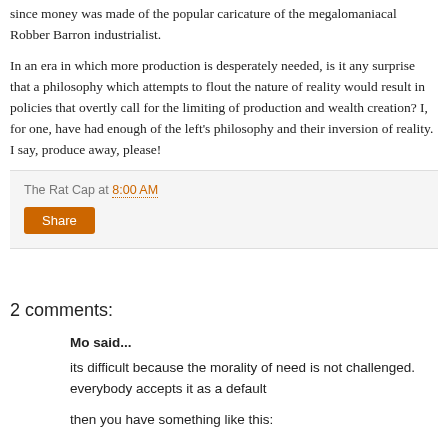since money was made of the popular caricature of the megalomaniacal Robber Barron industrialist.
In an era in which more production is desperately needed, is it any surprise that a philosophy which attempts to flout the nature of reality would result in policies that overtly call for the limiting of production and wealth creation? I, for one, have had enough of the left's philosophy and their inversion of reality. I say, produce away, please!
The Rat Cap at 8:00 AM
Share
2 comments:
Mo said...
its difficult because the morality of need is not challenged. everybody accepts it as a default
then you have something like this: